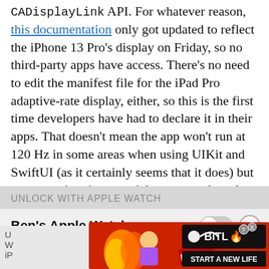CADisplayLink API. For whatever reason, this documentation only got updated to reflect the iPhone 13 Pro's display on Friday, so no third-party apps have access. There's no need to edit the manifest file for the iPad Pro adaptive-rate display, either, so this is the first time developers have had to declare it in their apps. That doesn't mean the app won't run at 120 Hz in some areas when using UIKit and SwiftUI (as it certainly seems that it does) but custom animations won't be as smooth as they could be.
[Figure (screenshot): iOS settings screenshot showing 'UNLOCK WITH APPLE WATCH' section header, a toggle row for 'Ben's Apple Watch' with a grey toggle and close button, followed by a BitLife advertisement banner overlapping the UI, and partial text 'Unable to Communicate' at the bottom.]